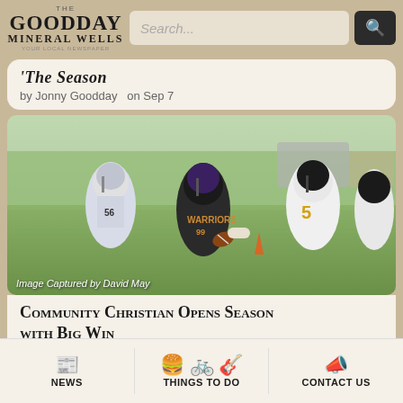Goodday Mineral Wells — Search bar
The Season
by Jonny Goodday on Sep 7
[Figure (photo): Football game action photo showing Warriors player #99 in black jersey running with ball, being tackled by opposing player #5 in white and yellow jersey. Image Captured by David May.]
Image Captured by David May
Community Christian Opens Season with Big Win
NEWS   THINGS TO DO   CONTACT US